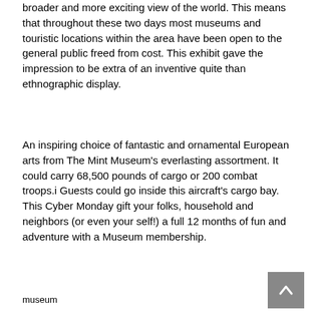broader and more exciting view of the world. This means that throughout these two days most museums and touristic locations within the area have been open to the general public freed from cost. This exhibit gave the impression to be extra of an inventive quite than ethnographic display.
An inspiring choice of fantastic and ornamental European arts from The Mint Museum's everlasting assortment. It could carry 68,500 pounds of cargo or 200 combat troops.i Guests could go inside this aircraft's cargo bay. This Cyber Monday gift your folks, household and neighbors (or even your self!) a full 12 months of fun and adventure with a Museum membership.
[Figure (photo): Image placeholder labeled 'museum']